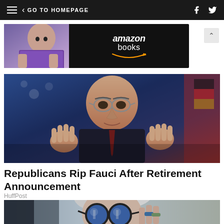GO TO HOMEPAGE
[Figure (photo): Amazon Books advertisement banner with a bald woman reading a book]
[Figure (photo): Dr. Anthony Fauci speaking with hands raised at a podium with flags in background]
Republicans Rip Fauci After Retirement Announcement
HuffPost
[Figure (photo): Elderly woman with gray hair wearing large round blue-tinted sunglasses and rings]